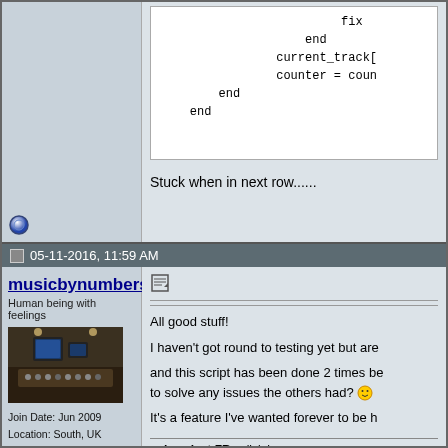[Figure (screenshot): Code snippet showing end, current_track[, counter = coun, end, end in monospace font]
Stuck when in next row......
05-11-2016, 11:59 AM
musicbynumbers
Human being with feelings
[Figure (photo): Recording studio interior with mixing console and monitors]
Join Date: Jun 2009
Location: South, UK
Posts: 13,870
All good stuff!
I haven't got round to testing yet but are
and this script has been done 2 times be to solve any issues the others had?
It's a feature I've wanted forever to be h
subproject FRs click here
note: don't search for my pseudonym on